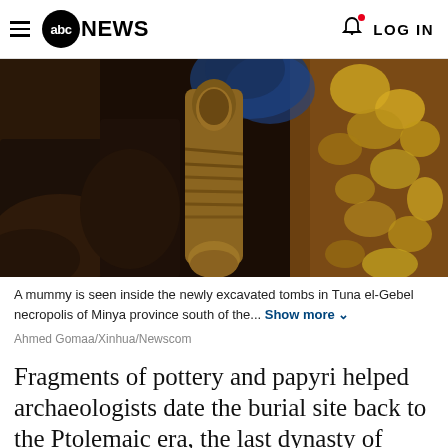abc NEWS   LOG IN
[Figure (photo): A mummy wrapped in bandages seen inside a newly excavated tomb, surrounded by rocky cave walls with orange and blue tones.]
A mummy is seen inside the newly excavated tombs in Tuna el-Gebel necropolis of Minya province south of the... Show more
Ahmed Gomaa/Xinhua/Newscom
Fragments of pottery and papyri helped archaeologists date the burial site back to the Ptolemaic era, the last dynasty of ancient